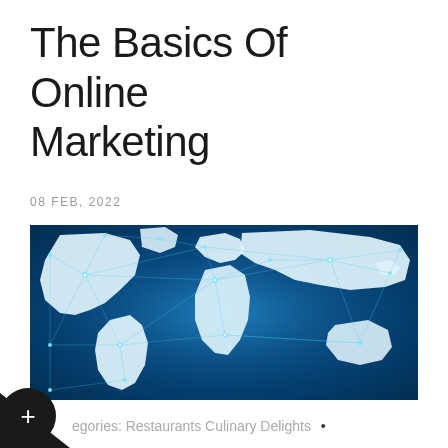The Basics Of Online Marketing
08 FEB, 2022
[Figure (photo): World map with glowing network connection lines and nodes on a dark blue background, depicting global digital connectivity.]
egories: Restaurants Culinary Delights •